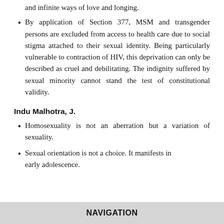and infinite ways of love and longing.
By application of Section 377, MSM and transgender persons are excluded from access to health care due to social stigma attached to their sexual identity. Being particularly vulnerable to contraction of HIV, this deprivation can only be described as cruel and debilitating. The indignity suffered by sexual minority cannot stand the test of constitutional validity.
Indu Malhotra, J.
Homosexuality is not an aberration but a variation of sexuality.
Sexual orientation is not a choice. It manifests in early adolescence.
NAVIGATION